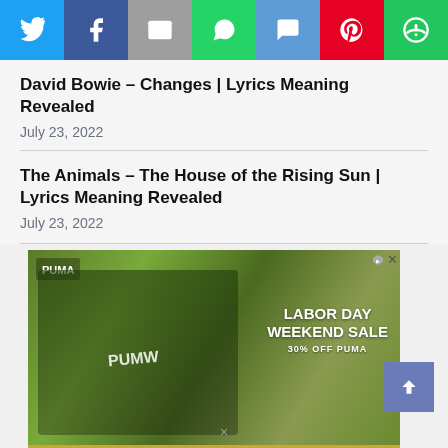[Figure (other): Social sharing bar with icons for Twitter, Facebook, Email, WhatsApp, SMS, Pinterest, and a share/other icon]
David Bowie – Changes | Lyrics Meaning Revealed
July 23, 2022
The Animals – The House of the Rising Sun | Lyrics Meaning Revealed
July 23, 2022
[Figure (photo): Advertisement for PUMA Labor Day Weekend Sale showing two people wearing Puma gear with text LABOR DAY WEEKEND SALE 30% OFF PUMA and sub-content Labor Day Weekend Sale - The PUMA Labor Day Weekend Sale is here]